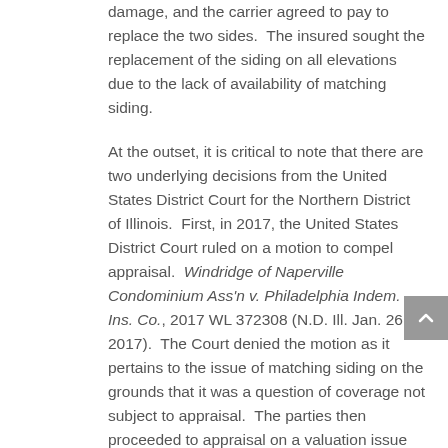damage, and the carrier agreed to pay to replace the two sides.  The insured sought the replacement of the siding on all elevations due to the lack of availability of matching siding.
At the outset, it is critical to note that there are two underlying decisions from the United States District Court for the Northern District of Illinois.  First, in 2017, the United States District Court ruled on a motion to compel appraisal.  Windridge of Naperville Condominium Ass'n v. Philadelphia Indem. Ins. Co., 2017 WL 372308 (N.D. Ill. Jan. 26, 2017).  The Court denied the motion as it pertains to the issue of matching siding on the grounds that it was a question of coverage not subject to appraisal.  The parties then proceeded to appraisal on a valuation issue pertaining to the roof.  Then, the insured moved for summary judgment on the issue of coverage, which the Court ruled on in 2019.